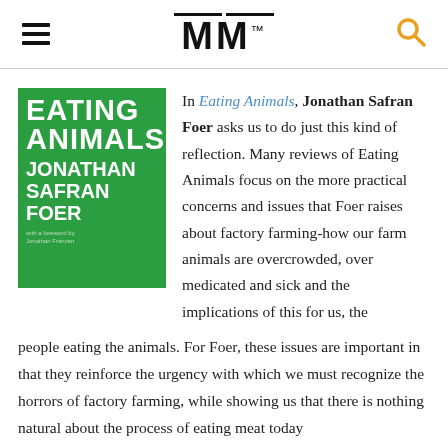MM
[Figure (illustration): Book cover of 'Eating Animals' by Jonathan Safran Foer. Green background with large white bold text: EATING ANIMALS JONATHAN SAFRAN FOER]
In Eating Animals, Jonathan Safran Foer asks us to do just this kind of reflection. Many reviews of Eating Animals focus on the more practical concerns and issues that Foer raises about factory farming-how our farm animals are overcrowded, over medicated and sick and the implications of this for us, the people eating the animals. For Foer, these issues are important in that they reinforce the urgency with which we must recognize the horrors of factory farming, while showing us that there is nothing natural about the process of eating meat today